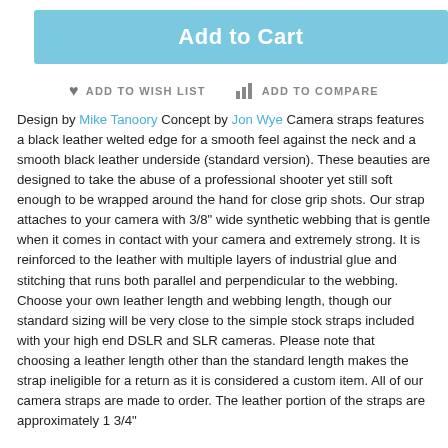[Figure (other): Add to Cart button — light blue rounded rectangle with white bold text]
♥ ADD TO WISH LIST   ▌▌ ADD TO COMPARE
Design by Mike Tanoory Concept by Jon Wye Camera straps features a black leather welted edge for a smooth feel against the neck and a smooth black leather underside (standard version). These beauties are designed to take the abuse of a professional shooter yet still soft enough to be wrapped around the hand for close grip shots. Our strap attaches to your camera with 3/8" wide synthetic webbing that is gentle when it comes in contact with your camera and extremely strong. It is reinforced to the leather with multiple layers of industrial glue and stitching that runs both parallel and perpendicular to the webbing. Choose your own leather length and webbing length, though our standard sizing will be very close to the simple stock straps included with your high end DSLR and SLR cameras. Please note that choosing a leather length other than the standard length makes the strap ineligible for a return as it is considered a custom item. All of our camera straps are made to order. The leather portion of the straps are approximately 1 3/4"